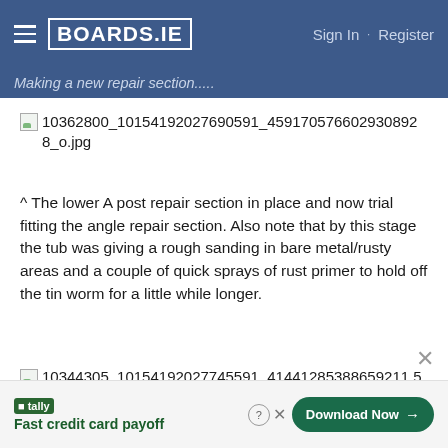BOARDS.IE  Sign In · Register
Making a new repair section.....
[Figure (photo): Broken image placeholder for 10362800_10154192027690591_459170576602930892 8_o.jpg]
^ The lower A post repair section in place and now trial fitting the angle repair section. Also note that by this stage the tub was giving a rough sanding in bare metal/rusty areas and a couple of quick sprays of rust primer to hold off the tin worm for a little while longer.
[Figure (photo): Broken image placeholder for 10344305_10154192027745591_41441285388659211 5]
tally Fast credit card payoff  Download Now